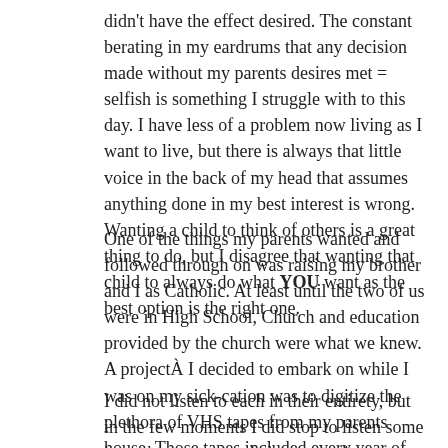didn't have the effect desired. The constant berating in my eardrums that any decision made without my parents desires met = selfish is something I struggle with to this day. I have less of a problem now living as I want to live, but there is always that little voice in the back of my head that assumes anything done in my best interest is wrong. Wanting a child to think of others is a great thing to do, but I disagree that wanting that child to always do what YOU want as the best option is the right one.
One of the things my parents wanted and followed through on was raising my brother and I as Catholic. At least until the two of us were in High School, Church and education provided by the church were what we knew. A projectÀ I decided to embark on while I was on my sick-cation was to digitize the plethora of VHS tapes from my parents house. Those tapes included every year of Christmas plays that myself and my brother participated in throughout our grade school years.
I did not listen to each in their entirety, but in the few moments I did stop to listen some items became crystal clear to me in a